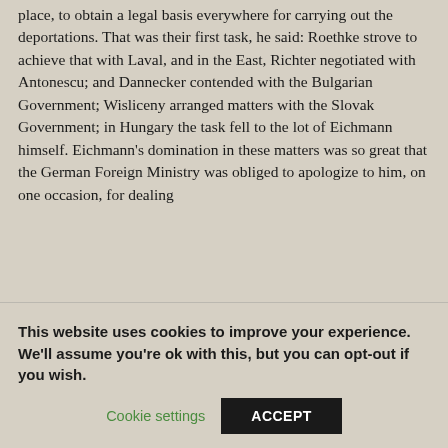place, to obtain a legal basis everywhere for carrying out the deportations. That was their first task, he said: Roethke strove to achieve that with Laval, and in the East, Richter negotiated with Antonescu; and Dannecker contended with the Bulgarian Government; Wisliceny arranged matters with the Slovak Government; in Hungary the task fell to the lot of Eichmann himself. Eichmann's domination in these matters was so great that the German Foreign Ministry was obliged to apologize to him, on one occasion, for dealing
This website uses cookies to improve your experience. We'll assume you're ok with this, but you can opt-out if you wish.